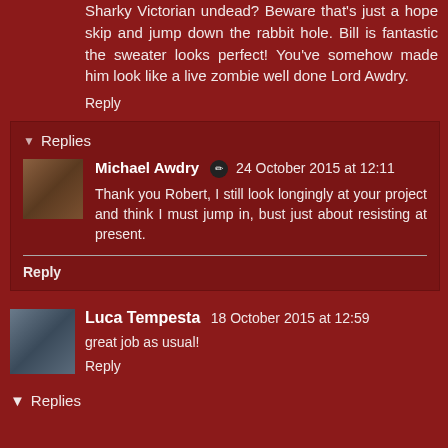Sharky Victorian undead? Beware that's just a hope skip and jump down the rabbit hole. Bill is fantastic the sweater looks perfect! You've somehow made him look like a live zombie well done Lord Awdry.
Reply
Replies
Michael Awdry 24 October 2015 at 12:11
Thank you Robert, I still look longingly at your project and think I must jump in, bust just about resisting at present.
Reply
Luca Tempesta 18 October 2015 at 12:59
great job as usual!
Reply
Replies